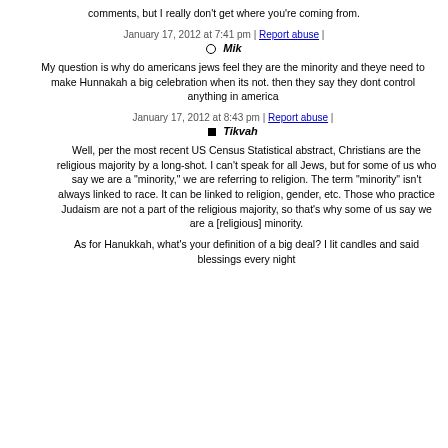comments, but I really don't get where you're coming from.
January 17, 2012 at 7:41 pm | Report abuse |
Mik
My question is why do americans jews feel they are the minority and theye need to make Hunnakah a big celebration when its not. then they say they dont control anything in america
January 17, 2012 at 8:43 pm | Report abuse |
Tikvah
Well, per the most recent US Census Statistical abstract, Christians are the religious majority by a long-shot. I can't speak for all Jews, but for some of us who say we are a "minority," we are referring to religion. The term "minority" isn't always linked to race. It can be linked to religion, gender, etc. Those who practice Judaism are not a part of the religious majority, so that's why some of us say we are a [religious] minority.
As for Hanukkah, what's your definition of a big deal? I lit candles and said blessings every night